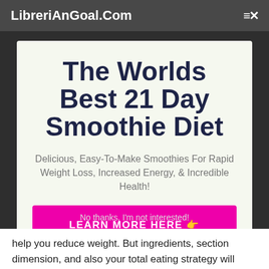LibreriAnGoal.Com
The Worlds Best 21 Day Smoothie Diet
Delicious, Easy-To-Make Smoothies For Rapid Weight Loss, Increased Energy, & Incredible Health!
LEARN MORE HERE 👉
No thanks, I'm not interested!
help you reduce weight. But ingredients, section dimension, and also your total eating strategy will